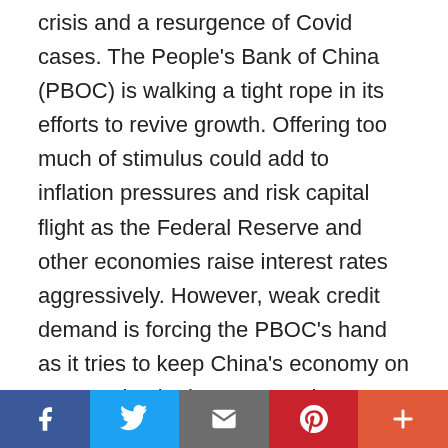crisis and a resurgence of Covid cases. The People's Bank of China (PBOC) is walking a tight rope in its efforts to revive growth. Offering too much of stimulus could add to inflation pressures and risk capital flight as the Federal Reserve and other economies raise interest rates aggressively. However, weak credit demand is forcing the PBOC's hand as it tries to keep China's economy on an even keel. The one-year loan prime rate (LPR) was lowered by five basis points to 3.65% at the central bank's monthly fixing, while the five-year LPR was slashed by 15 basis points to 4.30%. The one-year LPR was last reduced in January. The five-year tenor, which was last lowered in May,
[Figure (infographic): Social media sharing bar with five buttons: Facebook (blue), Twitter (light blue), Email (grey), Pinterest (red), More (orange-red)]